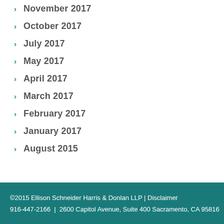November 2017
October 2017
July 2017
May 2017
April 2017
March 2017
February 2017
January 2017
August 2015
©2015 Ellison Schneider Harris & Donlan LLP | Disclaimer
916-447-2166 | 2600 Capitol Avenue, Suite 400 Sacramento, CA 95816